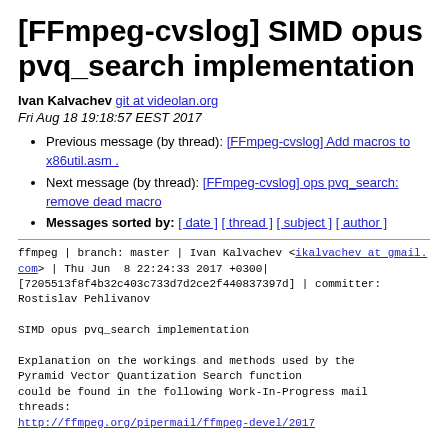[FFmpeg-cvslog] SIMD opus pvq_search implementation
Ivan Kalvachev git at videolan.org
Fri Aug 18 19:18:57 EEST 2017
Previous message (by thread): [FFmpeg-cvslog] Add macros to x86util.asm .
Next message (by thread): [FFmpeg-cvslog] ops pvq_search: remove dead macro
Messages sorted by: [ date ] [ thread ] [ subject ] [ author ]
ffmpeg | branch: master | Ivan Kalvachev <ikalvachev at gmail.com> | Thu Jun  8 22:24:33 2017 +0300|
[7205513f8f4b32c403c733d7d2ce2f440837397d] | committer: Rostislav Pehlivanov

SIMD opus pvq_search implementation

Explanation on the workings and methods used by the Pyramid Vector Quantization Search function
could be found in the following Work-In-Progress mail threads:
http://ffmpeg.org/pipermail/ffmpeg-devel/2017